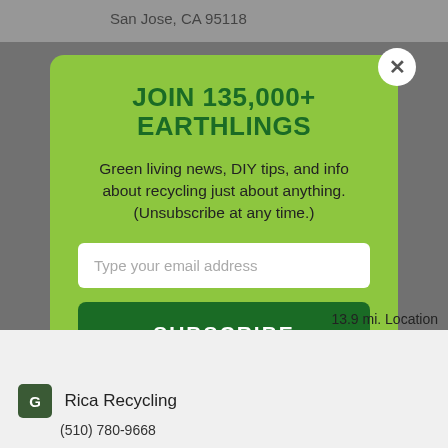San Jose, CA 95118
JOIN 135,000+ EARTHLINGS
Green living news, DIY tips, and info about recycling just about anything. (Unsubscribe at any time.)
Type your email address
SUBSCRIBE
13.9 mi. Location
Rica Recycling
(510) 780-9668